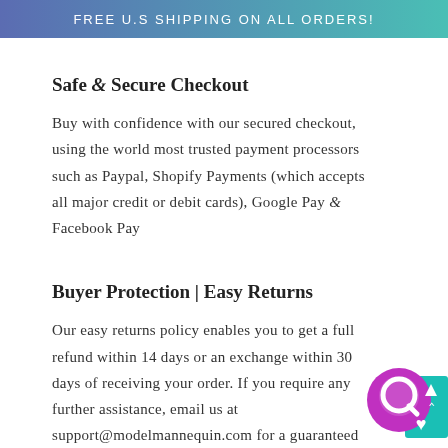FREE U.S SHIPPING ON ALL ORDERS!
Safe & Secure Checkout
Buy with confidence with our secured checkout, using the world most trusted payment processors such as Paypal, Shopify Payments (which accepts all major credit or debit cards), Google Pay & Facebook Pay
Buyer Protection | Easy Returns
Our easy returns policy enables you to get a full refund within 14 days or an exchange within 30 days of receiving your order. If you require any further assistance, email us at support@modelmannequin.com for a guaranteed